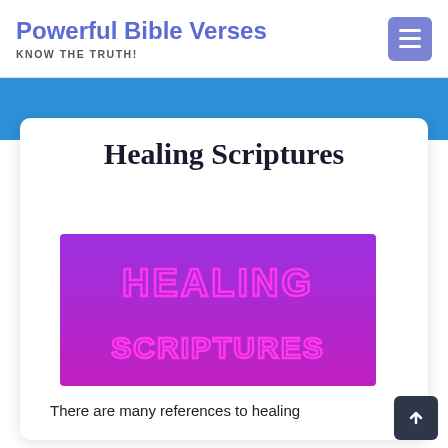Powerful Bible Verses
KNOW THE TRUTH!
[Figure (screenshot): Healing Scriptures webpage screenshot with purple gradient banner image]
Healing Scriptures
[Figure (illustration): Purple gradient rectangle with neon pink outlined text reading 'HEALING SCRIPTURES']
There are many references to healing